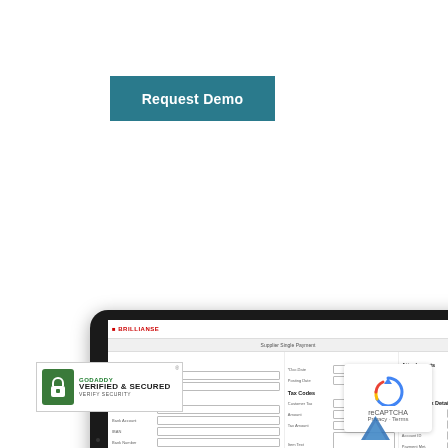Request Demo
[Figure (screenshot): Tablet device showing a software UI mockup of a supplier single payment form with fields for General Information, Supplier Details, Payment Details, House Bank Details, and Additional Information]
[Figure (infographic): Blue rounded rectangle with chat bubble icon and text 'Talk to an Expert']
[Figure (logo): GoDaddy Verified & Secured badge with green lock icon and 'VERIFY SECURITY' text]
[Figure (other): Google reCAPTCHA badge with Privacy and Terms links]
[Figure (other): Blue upward chevron/anchor icon at bottom right]